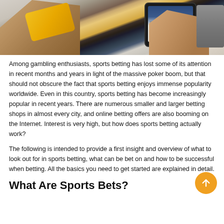[Figure (photo): Hands holding a yellow credit card and a smartphone displaying a sports betting app, with a tablet visible in the background on a light surface.]
Among gambling enthusiasts, sports betting has lost some of its attention in recent months and years in light of the massive poker boom, but that should not obscure the fact that sports betting enjoys immense popularity worldwide. Even in this country, sports betting has become increasingly popular in recent years. There are numerous smaller and larger betting shops in almost every city, and online betting offers are also booming on the Internet. Interest is very high, but how does sports betting actually work?
The following is intended to provide a first insight and overview of what to look out for in sports betting, what can be bet on and how to be successful when betting. All the basics you need to get started are explained in detail.
What Are Sports Bets?